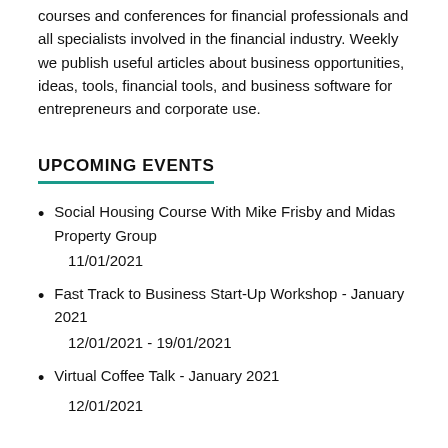courses and conferences for financial professionals and all specialists involved in the financial industry. Weekly we publish useful articles about business opportunities, ideas, tools, financial tools, and business software for entrepreneurs and corporate use.
UPCOMING EVENTS
Social Housing Course With Mike Frisby and Midas Property Group
11/01/2021
Fast Track to Business Start-Up Workshop - January 2021
12/01/2021 - 19/01/2021
Virtual Coffee Talk - January 2021
12/01/2021